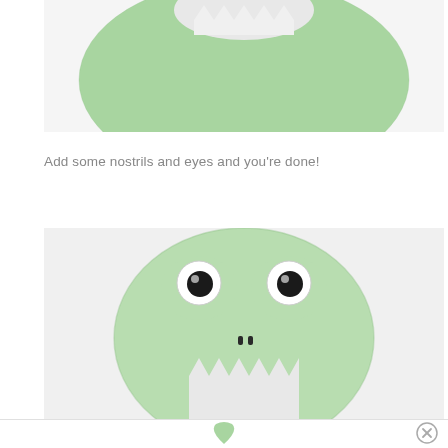[Figure (photo): Close-up photo of a green felt frog craft shape with white paper teeth/mouth area visible at top, against white background]
Add some nostrils and eyes and you're done!
[Figure (photo): Photo of completed frog craft: green oval felt body with googly eyes, black nostrils, and white zigzag teeth at bottom, against white background]
[Figure (photo): Partial footer image showing a green heart/frog icon at bottom center of page]